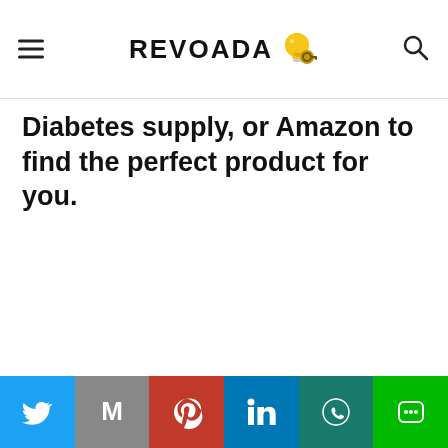REVOADA
Diabetes supply, or Amazon to find the perfect product for you.
Share bar with Twitter, Gmail, Pinterest, LinkedIn, WhatsApp, Line buttons